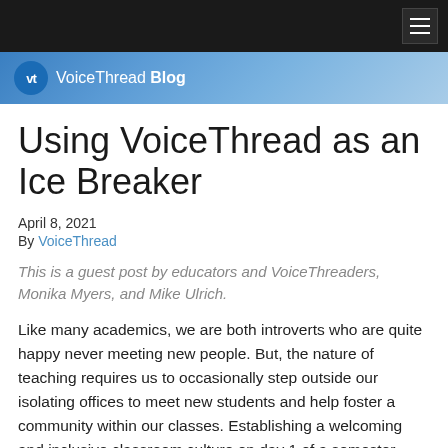VoiceThread Blog
Using VoiceThread as an Ice Breaker
April 8, 2021
By VoiceThread
This is a guest post by educators and VoiceThreaders, Monika Myers, and Mike Ulrich.
Like many academics, we are both introverts who are quite happy never meeting new people. But, the nature of teaching requires us to occasionally step outside our isolating offices to meet new students and help foster a community within our classes. Establishing a welcoming and inclusive classroom culture on day 1 of a semester